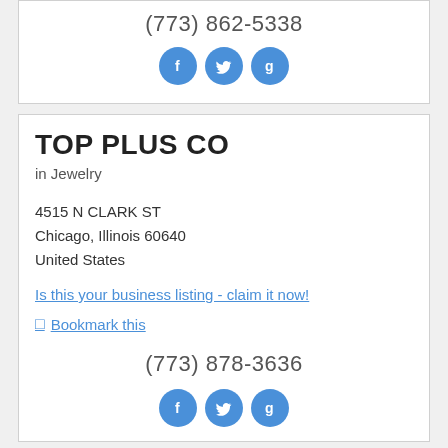(773) 862-5338
[Figure (infographic): Three blue circular social media icons: Facebook (f), Twitter (bird), Google+ (g)]
TOP PLUS CO
in Jewelry
4515 N CLARK ST
Chicago, Illinois 60640
United States
Is this your business listing - claim it now!
Bookmark this
(773) 878-3636
[Figure (infographic): Three blue circular social media icons: Facebook (f), Twitter (bird), Google+ (g)]